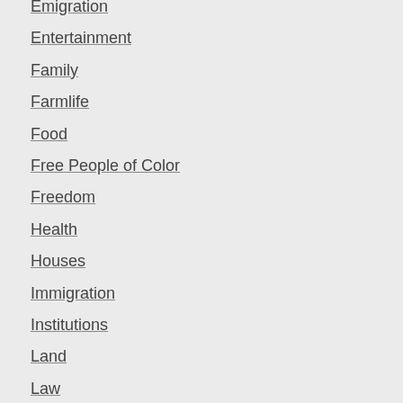Emigration
Entertainment
Family
Farmlife
Food
Free People of Color
Freedom
Health
Houses
Immigration
Institutions
Land
Law
Letters